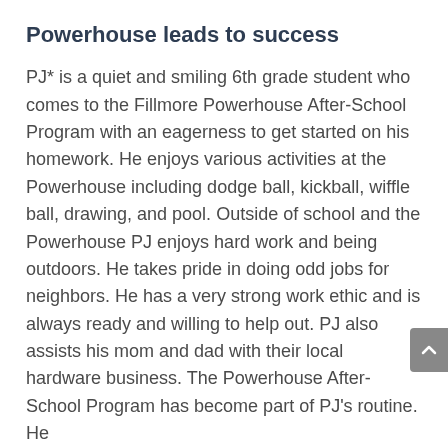Powerhouse leads to success
PJ* is a quiet and smiling 6th grade student who comes to the Fillmore Powerhouse After-School Program with an eagerness to get started on his homework. He enjoys various activities at the Powerhouse including dodge ball, kickball, wiffle ball, drawing, and pool. Outside of school and the Powerhouse PJ enjoys hard work and being outdoors. He takes pride in doing odd jobs for neighbors. He has a very strong work ethic and is always ready and willing to help out. PJ also assists his mom and dad with their local hardware business. The Powerhouse After-School Program has become part of PJ's routine. He